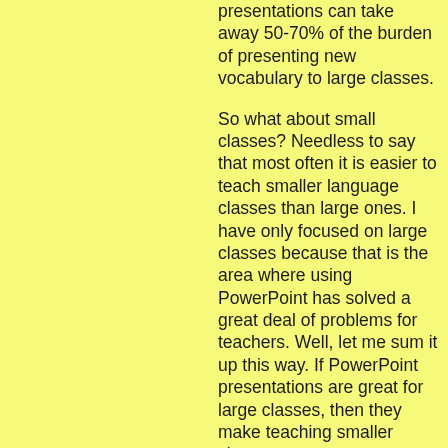presentations can take away 50-70% of the burden of presenting new vocabulary to large classes.
So what about small classes? Needless to say that most often it is easier to teach smaller language classes than large ones. I have only focused on large classes because that is the area where using PowerPoint has solved a great deal of problems for teachers. Well, let me sum it up this way. If PowerPoint presentations are great for large classes, then they make teaching smaller classes seem too easy.
How can I obtain PowerPoint presentations?
If you are worried that your computer skills are not yet ripe for you to make great